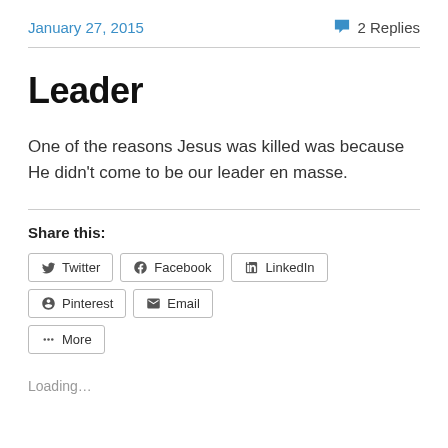January 27, 2015    2 Replies
Leader
One of the reasons Jesus was killed was because He didn't come to be our leader en masse.
Share this:
Twitter  Facebook  LinkedIn  Pinterest  Email  More
Loading...